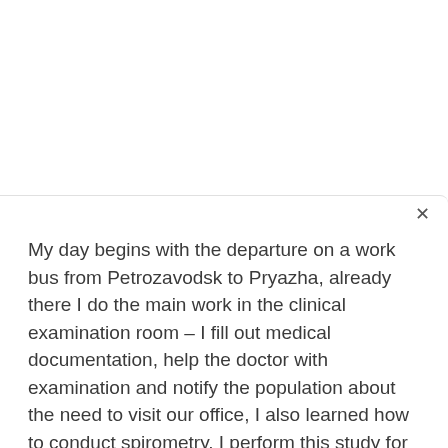My day begins with the departure on a work bus from Petrozavodsk to Pryazha, already there I do the main work in the clinical examination room – I fill out medical documentation, help the doctor with examination and notify the population about the need to visit our office, I also learned how to conduct spirometry, I perform this study for patients.